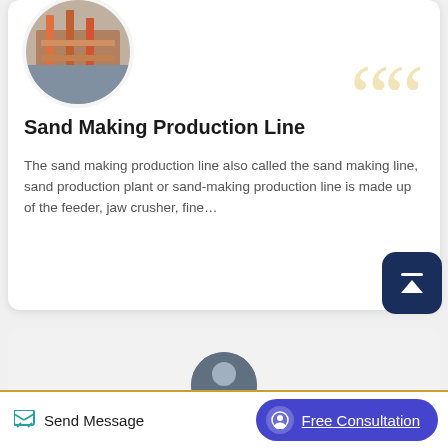[Figure (photo): Circular thumbnail photo of a sand making production line / mining equipment site with scaffolding-like structures and red machinery visible]
Sand Making Production Line
The sand making production line also called the sand making line, sand production plant or sand-making production line is made up of the feeder, jaw crusher, fine…
[Figure (photo): Partially visible circular thumbnail at the bottom of the page, showing equipment]
Send Message
Free Consultation